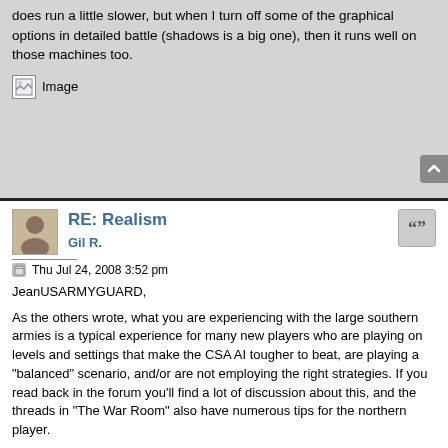does run a little slower, but when I turn off some of the graphical options in detailed battle (shadows is a big one), then it runs well on those machines too.
[Figure (other): Inline image placeholder labeled 'Image']
RE: Realism
Gil R.
Thu Jul 24, 2008 3:52 pm
JeanUSARMYGUARD,
As the others wrote, what you are experiencing with the large southern armies is a typical experience for many new players who are playing on levels and settings that make the CSA AI tougher to beat, are playing a "balanced" scenario, and/or are not employing the right strategies. If you read back in the forum you'll find a lot of discussion about this, and the threads in "The War Room" also have numerous tips for the northern player.
Regarding your claim that "I believe the developers overestimated the Souths AI / Resources / strength," I should point out that all of our economic data in the game -- for both the "balanced" (i.e., imbalanced, but not sharply imbalanced) and "imbalanced" economic scenarios -- come from census data and other historical sources. Settings can be changed to give the